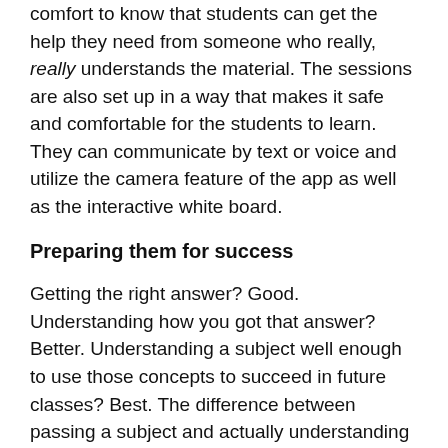comfort to know that students can get the help they need from someone who really, really understands the material. The sessions are also set up in a way that makes it safe and comfortable for the students to learn. They can communicate by text or voice and utilize the camera feature of the app as well as the interactive white board.
Preparing them for success
Getting the right answer? Good. Understanding how you got that answer? Better. Understanding a subject well enough to use those concepts to succeed in future classes? Best. The difference between passing a subject and actually understanding that subject can be vast; we want to make sure our kids are flourishing in their